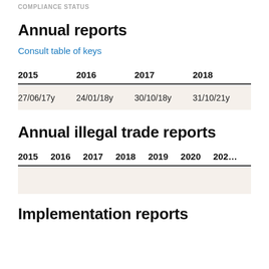COMPLIANCE STATUS
Annual reports
Consult table of keys
| 2015 | 2016 | 2017 | 2018 |
| --- | --- | --- | --- |
| 27/06/17y | 24/01/18y | 30/10/18y | 31/10/21y |
Annual illegal trade reports
| 2015 | 2016 | 2017 | 2018 | 2019 | 2020 | 202… |
| --- | --- | --- | --- | --- | --- | --- |
|  |  |  |  |  |  |  |
Implementation reports